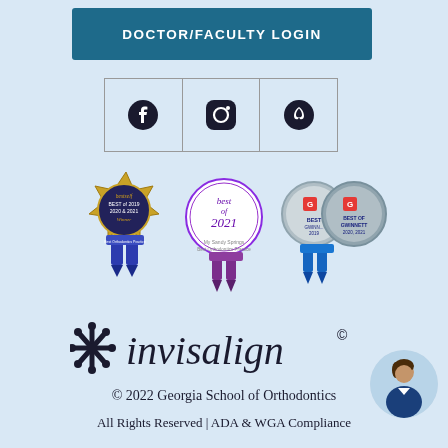[Figure (screenshot): Dark teal button labeled DOCTOR/FACULTY LOGIN]
[Figure (screenshot): Social media icons in bordered cells: Facebook, Instagram, Yelp]
[Figure (screenshot): Award badges: BestSelf Best of 2019 2020 & 2021 Winner Best Orthodontics Practice; Best of 2021 My Sandy Springs Best Orthodontics Practice; Best of Gwinnett 2019 and Best of Gwinnett 2020, 2021]
[Figure (logo): Invisalign logo with star/snowflake symbol and italic text invisalign with registered trademark symbol]
[Figure (illustration): Chat avatar - woman with dark hair in circular frame]
© 2022 Georgia School of Orthodontics
All Rights Reserved | ADA & WGA Compliance